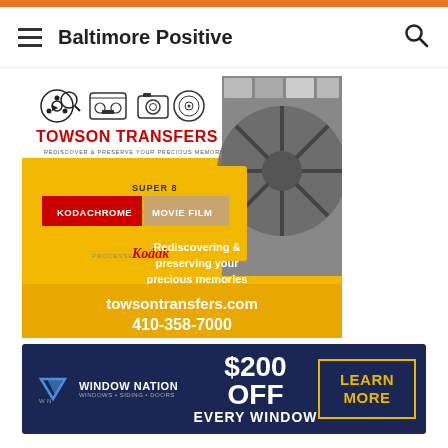Baltimore Positive
[Figure (illustration): Towson Transfers advertisement showing film reel, Kodachrome movie film, and Kodak branding with text: Rediscovering & preserving your precious memories for more than 26 years. towsontransfers.com 410-358-7000]
[Figure (illustration): Window Nation banner ad: $200 OFF EVERY WINDOW - LEARN MORE]